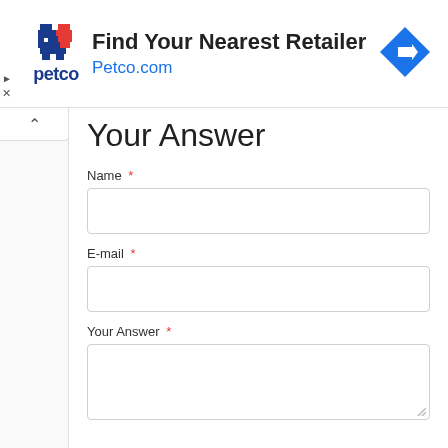[Figure (infographic): Petco advertisement banner: Petco logo (pixel art cat/dog), text 'Find Your Nearest Retailer' and 'Petco.com' in blue, blue diamond arrow icon on right. Small play and close icons on left edge.]
Your Answer
Name *
E-mail *
Your Answer *